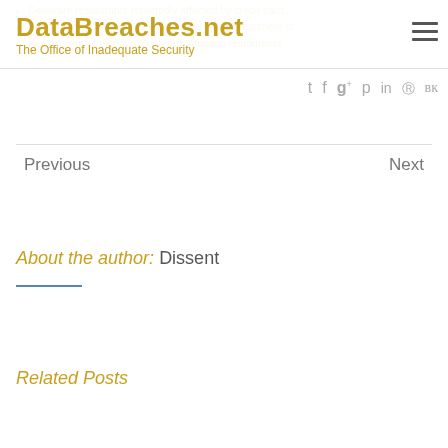DataBreaches.net – The Office of Inadequate Security
Delaware restaurants reportedly affected by credit card...
Penn Station, Inc. and its Franchisees Alert Customers of
Hackers target Georgia Southern, Augusta restaurants
Social share icons: Twitter, Facebook, Google+, Pinterest, LinkedIn, Reddit, VK
Previous  |  Next
About the author: Dissent
Related Posts